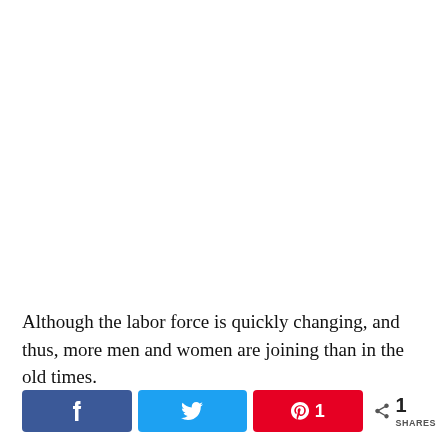Although the labor force is quickly changing, and thus, more men and women are joining than in the old times.
[Figure (other): Social sharing bar with Facebook, Twitter, and Pinterest buttons, plus a share count showing 1 SHARES]